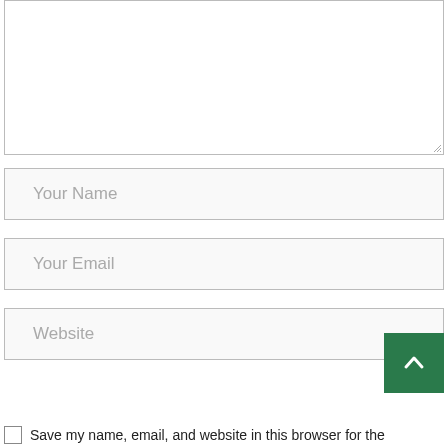[Figure (screenshot): A textarea input box (comment field) with resize handle at bottom-right, shown empty with a light border.]
Your Name
Your Email
Website
[Figure (other): Green square scroll-to-top button with white upward chevron arrow, positioned at bottom-right.]
Save my name, email, and website in this browser for the